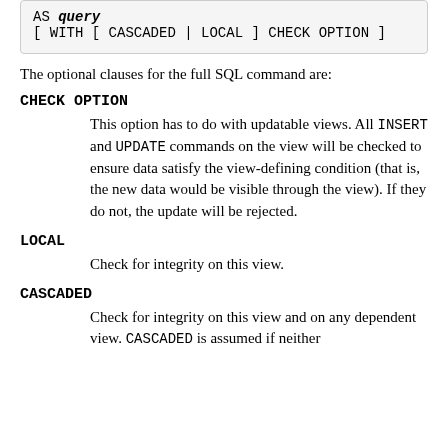The optional clauses for the full SQL command are:
CHECK OPTION
This option has to do with updatable views. All INSERT and UPDATE commands on the view will be checked to ensure data satisfy the view-defining condition (that is, the new data would be visible through the view). If they do not, the update will be rejected.
LOCAL
Check for integrity on this view.
CASCADED
Check for integrity on this view and on any dependent view. CASCADED is assumed if neither